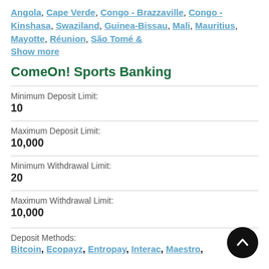Angola, Cape Verde, Congo - Brazzaville, Congo - Kinshasa, Swaziland, Guinea-Bissau, Mali, Mauritius, Mayotte, Réunion, São Tomé & Show more
ComeOn! Sports Banking
Minimum Deposit Limit:
10
Maximum Deposit Limit:
10,000
Minimum Withdrawal Limit:
20
Maximum Withdrawal Limit:
10,000
Deposit Methods:
Bitcoin, Ecopayz, Entropay, Interac, Maestro,